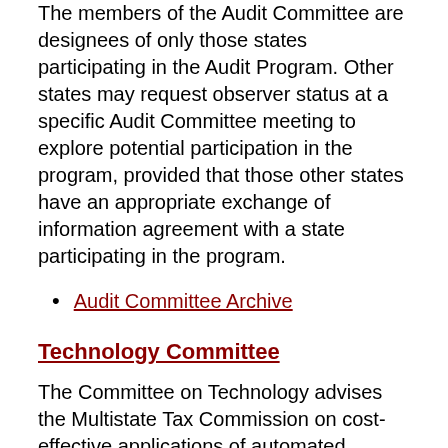The members of the Audit Committee are designees of only those states participating in the Audit Program. Other states may request observer status at a specific Audit Committee meeting to explore potential participation in the program, provided that those other states have an appropriate exchange of information agreement with a state participating in the program.
Audit Committee Archive
Technology Committee
The Committee on Technology advises the Multistate Tax Commission on cost-effective applications of automated systems to assist the Member States of the Commission in further advancing the Multistate Tax Compact's purposes of fairness, taxpayer convenience and compliance, and